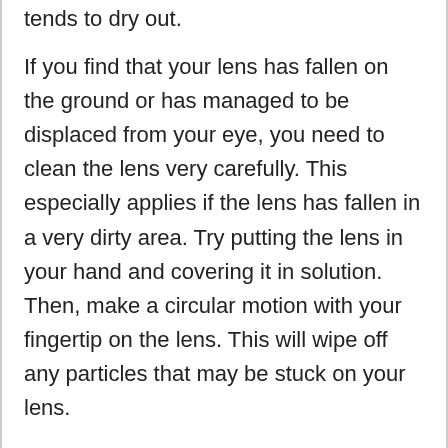tends to dry out.
If you find that your lens has fallen on the ground or has managed to be displaced from your eye, you need to clean the lens very carefully. This especially applies if the lens has fallen in a very dirty area. Try putting the lens in your hand and covering it in solution. Then, make a circular motion with your fingertip on the lens. This will wipe off any particles that may be stuck on your lens.
You should also take some consideration into cleaning your lens containers. It is important to keep them from being dirty as well. By doing this, it is less likely that bacteria or protein will stay in